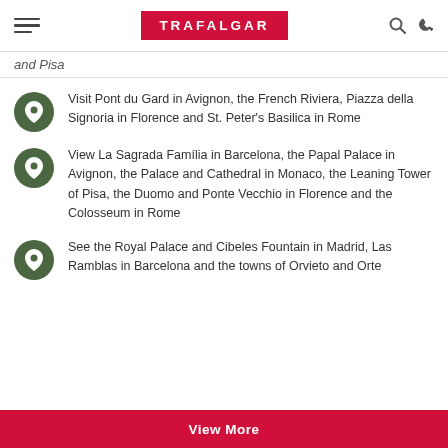TRAFALGAR
and Pisa
Visit Pont du Gard in Avignon, the French Riviera, Piazza della Signoria in Florence and St. Peter's Basilica in Rome
View La Sagrada Família in Barcelona, the Papal Palace in Avignon, the Palace and Cathedral in Monaco, the Leaning Tower of Pisa, the Duomo and Ponte Vecchio in Florence and the Colosseum in Rome
See the Royal Palace and Cibeles Fountain in Madrid, Las Ramblas in Barcelona and the towns of Orvieto and Orte
View More